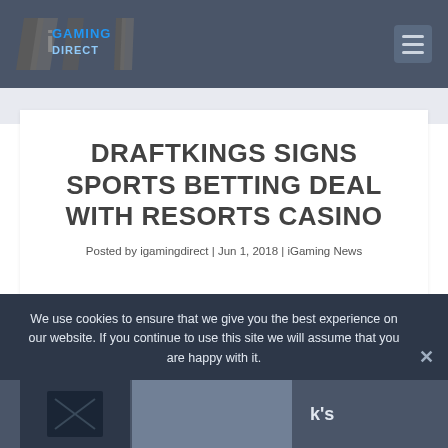[Figure (logo): iGaming Direct logo with angular bracket design and blue text]
DRAFTKINGS SIGNS SPORTS BETTING DEAL WITH RESORTS CASINO
Posted by igamingdirect | Jun 1, 2018 | iGaming News
We use cookies to ensure that we give you the best experience on our website. If you continue to use this site we will assume that you are happy with it.
[Figure (photo): Bottom article image strip partially visible]